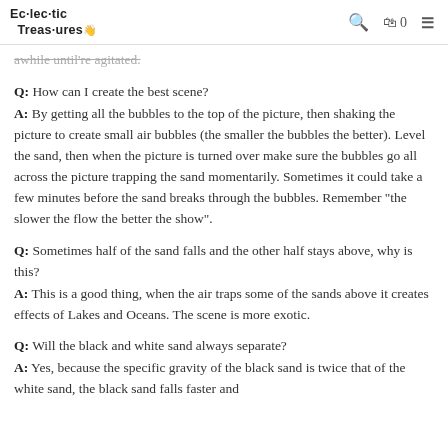Eclectic Treasures [logo with hand icon] [search icon] [cart icon 0] [menu icon]
awhile until're agitated.
Q:  How can I create the best scene?
A:  By getting all the bubbles to the top of the picture, then shaking the picture to create small air bubbles (the smaller the bubbles the better).  Level the sand, then when the picture is turned over make sure the bubbles go all across the picture trapping the sand momentarily.  Sometimes it could take a few minutes before the sand breaks through the bubbles.  Remember "the slower the flow the better the show".
Q:  Sometimes half of the sand falls and the other half stays above, why is this?
A:  This is a good thing, when the air traps some of the sands above it creates effects of  Lakes and Oceans.  The scene is more exotic.
Q:  Will the black and white sand always separate?
A:  Yes, because the specific gravity of the black sand is twice that of the white sand, the black sand falls faster and